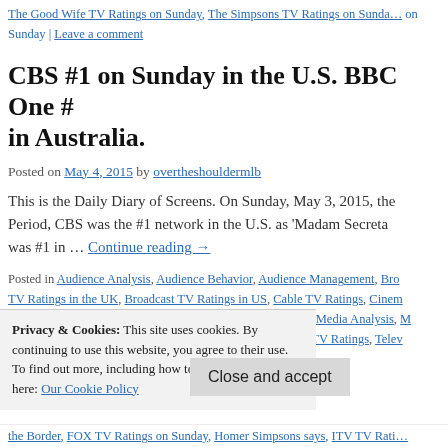The Good Wife TV Ratings on Sunday, The Simpsons TV Ratings on Sunday, on Sunday | Leave a comment
CBS #1 on Sunday in the U.S. BBC One # in Australia.
Posted on May 4, 2015 by overtheshouldermlb
This is the Daily Diary of Screens. On Sunday, May 3, 2015, the Period, CBS was the #1 network in the U.S. as 'Madam Secreta was #1 in … Continue reading →
Posted in Audience Analysis, Audience Behavior, Audience Management, Bro TV Ratings in the UK, Broadcast TV Ratings in US, Cable TV Ratings, Cinem Direct, Hispanic TV Ratings, Late Night TV Ratings, Media, Media Analysis, M By, Music To Read overtheshouldermedia by, Sunday Night TV Ratings, Tele
Privacy & Cookies: This site uses cookies. By continuing to use this website, you agree to their use. To find out more, including how to control cookies, see here: Our Cookie Policy
Close and accept
the Border, FOX TV Ratings on Sunday, Homer Simpsons says, ITV TV Rati